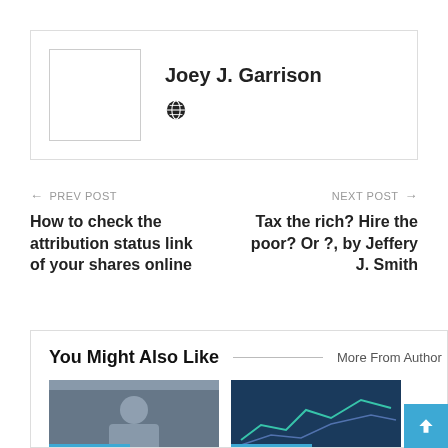[Figure (other): Author card with placeholder avatar box, name Joey J. Garrison, and globe icon]
Joey J. Garrison
← PREV POST
How to check the attribution status link of your shares online
NEXT POST →
Tax the rich? Hire the poor? Or ?, by Jeffery J. Smith
You Might Also Like
More From Author
[Figure (photo): Stock photo thumbnail with STOCK PRICE badge]
[Figure (photo): Stock market chart thumbnail with STOCK PRICE badge]